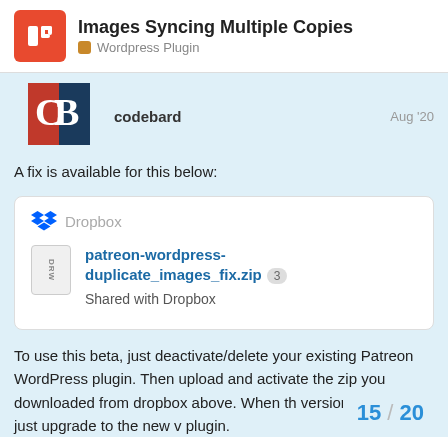Images Syncing Multiple Copies — Wordpress Plugin
codebard — Aug '20
A fix is available for this below:
[Figure (screenshot): Dropbox shared file card showing patreon-wordpress-duplicate_images_fix.zip with badge '3' and text 'Shared with Dropbox']
To use this beta, just deactivate/delete your existing Patreon WordPress plugin. Then upload and activate the zip you downloaded from dropbox above. When th version, you can just upgrade to the new v plugin.